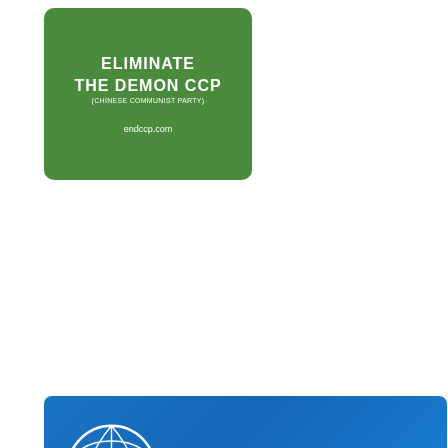[Figure (illustration): Green rounded rectangle banner with white bold text reading ELIMINATE THE DEMON CCP (CHINESE COMMUNIST PARTY) and URL endccp.com]
[Figure (illustration): Blue banner with UN logo on the left and white bold text RESOLUTIONS AND REPORTS on the right]
[Figure (illustration): Gray banner with a hand placing puzzle pieces forming a blue glass building on the left, and About Us text with an upward chevron arrow on the right]